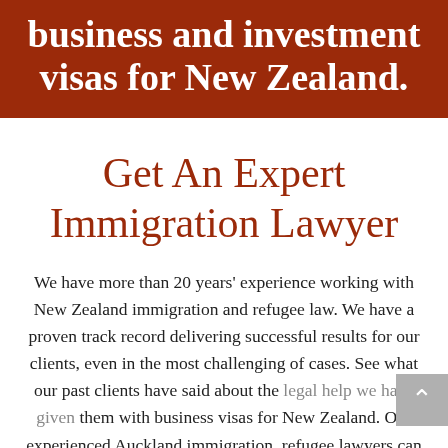business and investment visas for New Zealand.
Get An Expert Immigration Lawyer
We have more than 20 years' experience working with New Zealand immigration and refugee law. We have a proven track record delivering successful results for our clients, even in the most challenging of cases. See what our past clients have said about the legal help we have given them with business visas for New Zealand. Our experienced Auckland immigration, refugee lawyers can answer all your questions about visas and issues relating to investment and entrepreneur visas for New